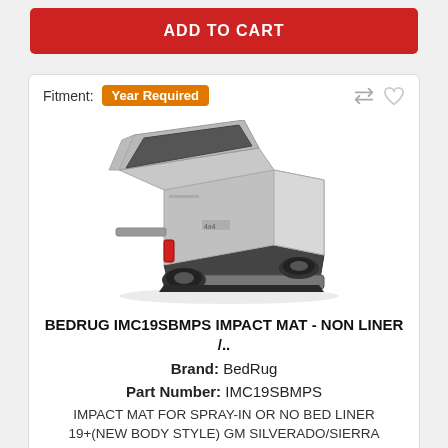[Figure (screenshot): ADD TO CART red button at the top of the page]
Fitment: Year Required
[Figure (photo): Silver pickup truck with bed mat installed, shown from rear three-quarter view on white background]
BEDRUG IMC19SBMPS IMPACT MAT - NON LINER /..
Brand: BedRug
Part Number: IMC19SBMPS
IMPACT MAT FOR SPRAY-IN OR NO BED LINER 19+(NEW BODY STYLE) GM SILVERADO/SIERRA